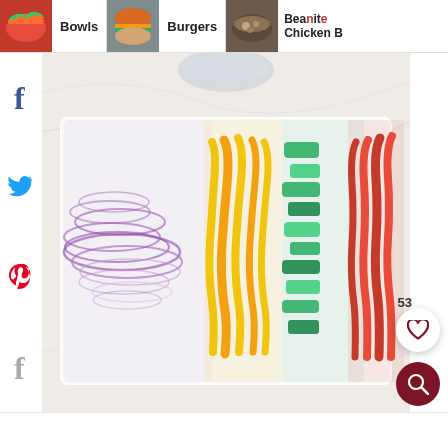[Figure (screenshot): Website navigation bar showing food recipe thumbnails: colorful bowl, burger, and Bean Chicken B... items with food photos]
[Figure (photo): Top-down photo of sliced vegetables on a white rectangular tray: purple/red onions, yellow bell pepper, green bell pepper, and red bell pepper strips arranged side by side on a white marble surface]
[Figure (screenshot): Social share sidebar icons: Facebook (f), Twitter bird, Pinterest (P), and another Facebook (f) icon stacked vertically on the left]
53
[Figure (screenshot): Heart/favorite button - white circle with heart outline icon, with count 53 above it]
[Figure (screenshot): Search button - dark red/maroon circle with white magnifying glass icon]